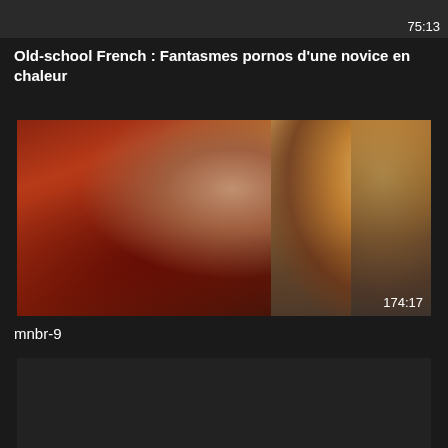[Figure (screenshot): Top video thumbnail strip, dark background with duration 75:13]
Old-school French : Fantasmes pornos d'une novice en chaleur
[Figure (screenshot): Main video thumbnail showing a woman with brown hair, orange/red patterned background, lamp visible, duration 174:17]
mnbr-9
[Figure (screenshot): Dark thumbnail preview area at bottom]